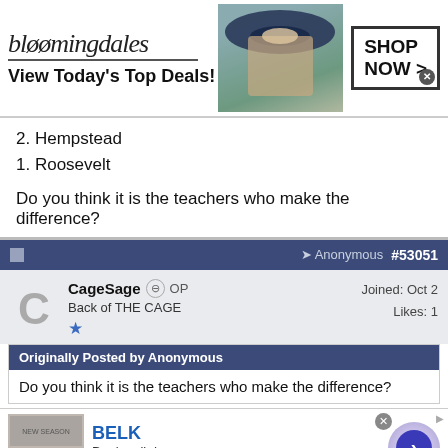[Figure (illustration): Bloomingdales advertisement banner with logo, woman in hat, and SHOP NOW button]
2. Hempstead
1. Roosevelt
Do you think it is the teachers who make the difference?
[Figure (screenshot): Forum post header bar showing Anonymous link and post number #53051]
CageSage OP
Back of THE CAGE
Joined: Oct 2
Likes: 1
Originally Posted by Anonymous
Do you think it is the teachers who make the difference?
[Figure (illustration): BELK advertisement: Denim all day. www.belk.com with navigation arrow button]